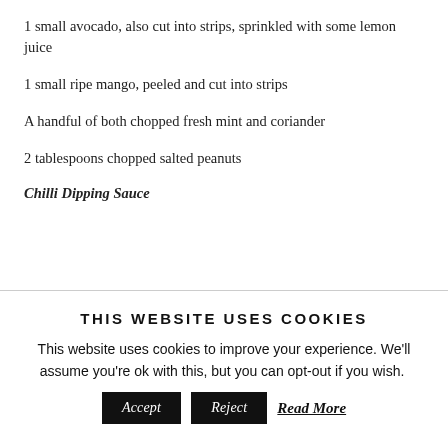1 small avocado, also cut into strips, sprinkled with some lemon juice
1 small ripe mango, peeled and cut into strips
A handful of both chopped fresh mint and coriander
2 tablespoons chopped salted peanuts
Chilli Dipping Sauce
THIS WEBSITE USES COOKIES
This website uses cookies to improve your experience. We'll assume you're ok with this, but you can opt-out if you wish.
Accept   Reject   Read More